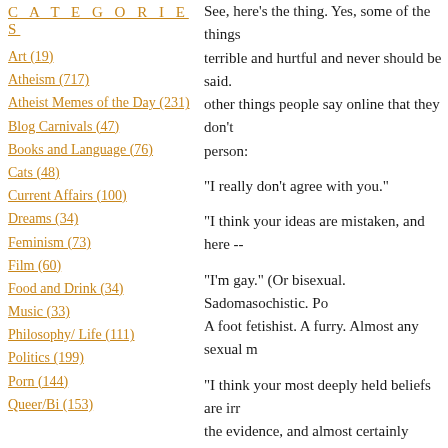C A T E G O R I E S
Art (19)
Atheism (717)
Atheist Memes of the Day (231)
Blog Carnivals (47)
Books and Language (76)
Cats (48)
Current Affairs (100)
Dreams (34)
Feminism (73)
Film (60)
Food and Drink (34)
Music (33)
Philosophy/ Life (111)
Politics (199)
Porn (144)
Queer/Bi (153)
See, here's the thing. Yes, some of the things terrible and hurtful and never should be said. other things people say online that they don't person:
"I really don't agree with you."
"I think your ideas are mistaken, and here --
"I'm gay." (Or bisexual. Sadomasochistic. Po A foot fetishist. A furry. Almost any sexual m
"I think your most deeply held beliefs are irr the evidence, and almost certainly incorrect.'
"I am an atheist."
And these are important things to say. They'r said, things I want to be said.
The fact that people feel less bound by socia they do in person doesn't just give them lic